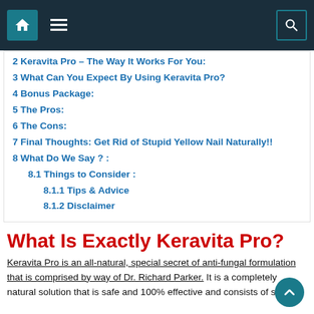Navigation bar with home icon, menu icon, and search icon
2 Keravita Pro – The Way It Works For You:
3 What Can You Expect By Using Keravita Pro?
4 Bonus Package:
5 The Pros:
6 The Cons:
7 Final Thoughts: Get Rid of Stupid Yellow Nail Naturally!!
8 What Do We Say ? :
8.1 Things to Consider :
8.1.1 Tips & Advice
8.1.2 Disclaimer
What Is Exactly Keravita Pro?
Keravita Pro is an all-natural, special secret of anti-fungal formulation that is comprised by way of Dr. Richard Parker. It is a completely natural solution that is safe and 100% effective and consists of secret